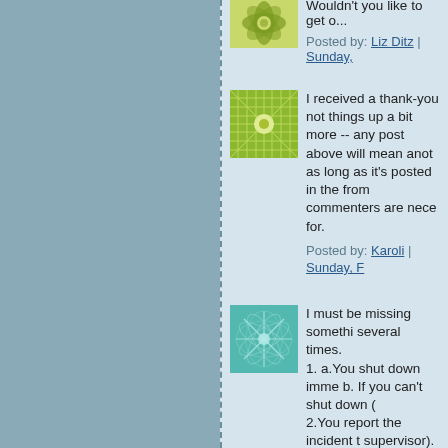Wouldn't you like to get o...
Posted by: Liz Ditz | Sunday,
I received a thank-you not things up a bit more -- any post above will mean anot as long as it's posted in the from commenters are nece for.
Posted by: Karoli | Sunday, F
I must be missing somethi several times.
1. a.You shut down imme b. If you can't shut down (
2.You report the incident t supervisor).
3. Are there any details tha these steps?
Posted by: Reg Adkins | Thur
The comments to this entry are close